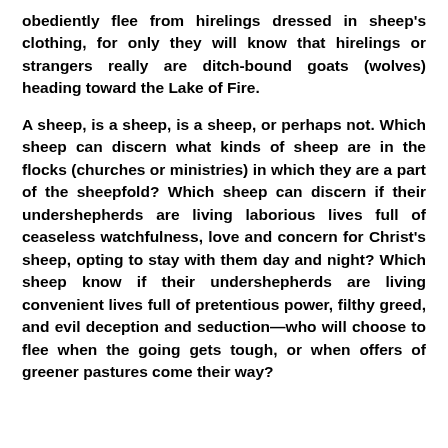obediently flee from hirelings dressed in sheep's clothing, for only they will know that hirelings or strangers really are ditch-bound goats (wolves) heading toward the Lake of Fire.

A sheep, is a sheep, is a sheep, or perhaps not. Which sheep can discern what kinds of sheep are in the flocks (churches or ministries) in which they are a part of the sheepfold? Which sheep can discern if their undershepherds are living laborious lives full of ceaseless watchfulness, love and concern for Christ's sheep, opting to stay with them day and night? Which sheep know if their undershepherds are living convenient lives full of pretentious power, filthy greed, and evil deception and seduction—who will choose to flee when the going gets tough, or when offers of greener pastures come their way?